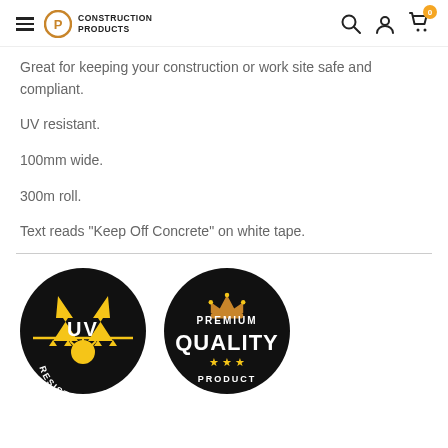Construction Products
Great for keeping your construction or work site safe and compliant.
UV resistant.
100mm wide.
300m roll.
Text reads "Keep Off Concrete" on white tape.
[Figure (logo): UV Resistant black circular badge with yellow UV symbol and sun graphic]
[Figure (logo): Premium Quality black circular badge with orange crown and stars]